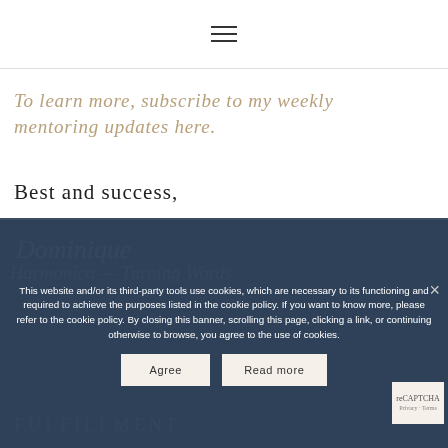[Figure (other): Hamburger menu icon (three horizontal lines) centered in top navigation bar]
To learn more, subscribe to my weekly mentoring updates here.
Best and success,
[Figure (illustration): Cursive signature and background image with FULFILLMENT text, partially obscured by cookie consent overlay]
This website and/or its third-party tools use cookies, which are necessary to its functioning and required to achieve the purposes listed in the cookie policy. If you want to know more, please refer to the cookie policy. By closing this banner, scrolling this page, clicking a link, or continuing otherwise to browse, you agree to the use of cookies.
Agree
Read more